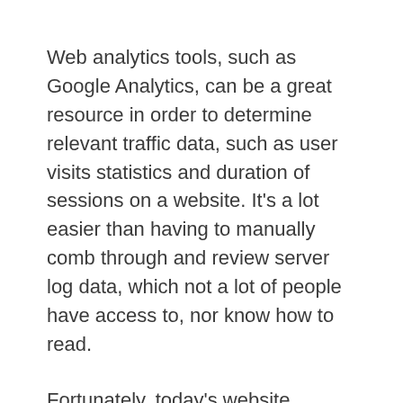Web analytics tools, such as Google Analytics, can be a great resource in order to determine relevant traffic data, such as user visits statistics and duration of sessions on a website. It's a lot easier than having to manually comb through and review server log data, which not a lot of people have access to, nor know how to read.
Fortunately, today's website analytics tools are a much more user-friendly method to determine concurrent users. For a lot of teams, Google Analytics is the go-to tool for measuring and observing website traffic, as well as tying conversions to revenue. However, for those not familiar with Google Analytics, it can initially be difficult to determine the exact number of concurrent users on your website. You can see